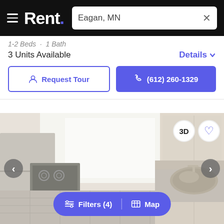Rent. — Eagan, MN
1-2 Beds · 1 Bath
3 Units Available
Details
Request Tour
(612) 260-1329
[Figure (photo): Interior kitchen photo with white stove/refrigerator on left and sink on right, light cabinetry, tile backsplash. Navigation arrows on sides, 3D and heart icons in top-right corner.]
Filters (4)  |  Map